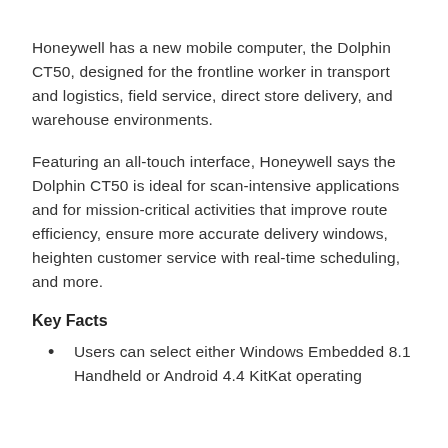Honeywell has a new mobile computer, the Dolphin CT50, designed for the frontline worker in transport and logistics, field service, direct store delivery, and warehouse environments.
Featuring an all-touch interface, Honeywell says the Dolphin CT50 is ideal for scan-intensive applications and for mission-critical activities that improve route efficiency, ensure more accurate delivery windows, heighten customer service with real-time scheduling, and more.
Key Facts
Users can select either Windows Embedded 8.1 Handheld or Android 4.4 KitKat operating